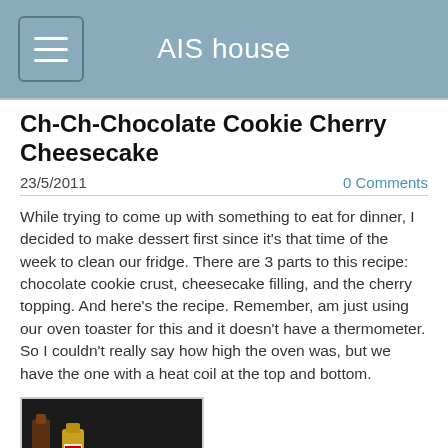AIS house
Ch-Ch-Chocolate Cookie Cherry Cheesecake
23/5/2011
0 Comments
While trying to come up with something to eat for dinner, I decided to make dessert first since it's that time of the week to clean our fridge. There are 3 parts to this recipe: chocolate cookie crust, cheesecake filling, and the cherry topping. And here's the recipe. Remember, am just using our oven toaster for this and it doesn't have a thermometer. So I couldn't really say how high the oven was, but we have the one with a heat coil at the top and bottom.
[Figure (photo): Photo of a yellow bowl containing dark chocolate cookie crumbs, placed on a dark surface with bottles visible in the background]